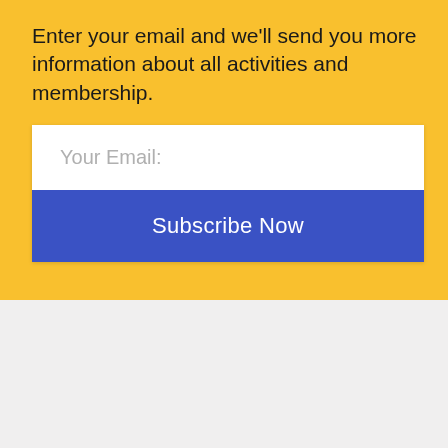Enter your email and we'll send you more information about all activities and membership.
[Figure (screenshot): Email subscription form with 'Your Email:' input field and blue 'Subscribe Now' button]
[Figure (logo): SPACE logo in bold letters on yellow banner with black border frame]